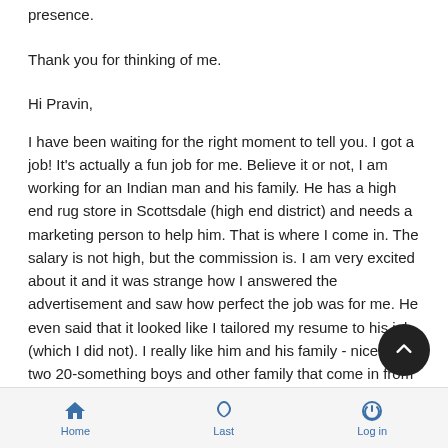presence.
Thank you for thinking of me.
Hi Pravin,
I have been waiting for the right moment to tell you. I got a job! It's actually a fun job for me. Believe it or not, I am working for an Indian man and his family. He has a high end rug store in Scottsdale (high end district) and needs a marketing person to help him. That is where I come in. The salary is not high, but the commission is. I am very excited about it and it was strange how I answered the advertisement and saw how perfect the job was for me. He even said that it looked like I tailored my resume to his job (which I did not). I really like him and his family - nice wife, two 20-something boys and other family that come in from time to time. I am the only white person that works there.
Home  Last  Log in